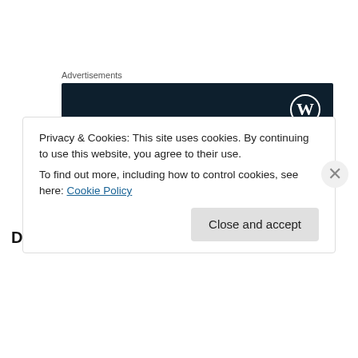Advertisements
[Figure (illustration): WordPress advertisement banner with dark navy background, WordPress logo (W in circle) in top right, text reads 'Opinions. We all have them!']
Dwele on Youtube:
Privacy & Cookies: This site uses cookies. By continuing to use this website, you agree to their use.
To find out more, including how to control cookies, see here: Cookie Policy
Close and accept